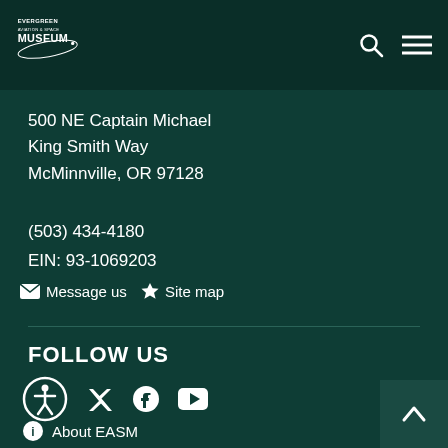Evergreen Aviation & Space Museum — navigation header with logo, search icon, and hamburger menu
500 NE Captain Michael King Smith Way McMinnville, OR 97128
(503) 434-4180
EIN: 93-1069203
✉ Message us ★ Site map
FOLLOW US
[Figure (other): Row of social/accessibility icons: accessibility (person-in-circle), Twitter/X, Facebook, YouTube]
ℹ About EASM
[Figure (other): Back to top button with upward chevron arrow]